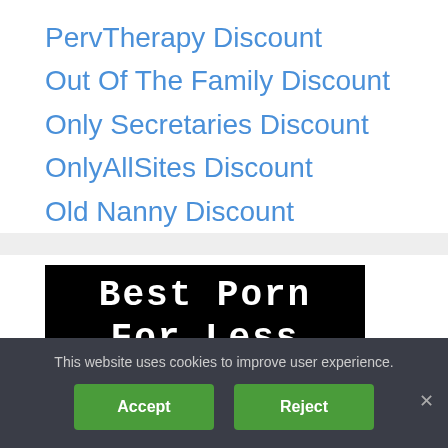PervTherapy Discount
Out Of The Family Discount
Only Secretaries Discount
OnlyAllSites Discount
Old Nanny Discount
[Figure (screenshot): Black banner with white monospace bold text reading 'Best Porn For Less' (partially visible)]
This website uses cookies to improve user experience.
Accept
Reject